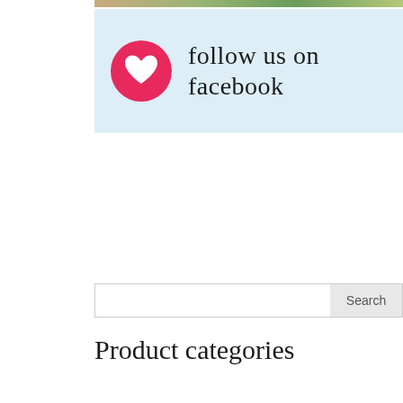[Figure (photo): Partial photo strip showing greenery/nature at top]
[Figure (infographic): Light blue Facebook follow banner with pink heart circle icon and script text 'follow us on facebook']
Search
Product categories